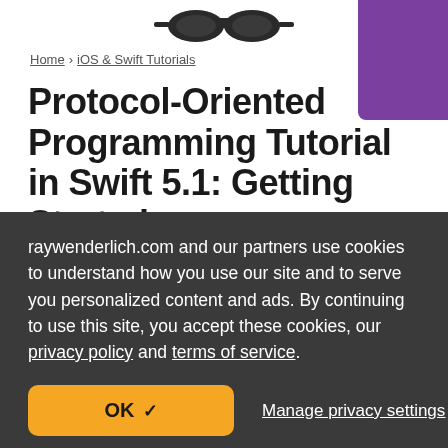[Figure (logo): raywenderlich.com logo — dark mask/glasses icon at top center]
Home > iOS & Swift Tutorials
Protocol-Oriented Programming Tutorial in Swift 5.1: Getting Started
In this protocol-oriented programming tutorial, you'll learn about extensions, default
raywenderlich.com and our partners use cookies to understand how you use our site and to serve you personalized content and ads. By continuing to use this site, you accept these cookies, our privacy policy and terms of service.
OK ✓  Manage privacy settings